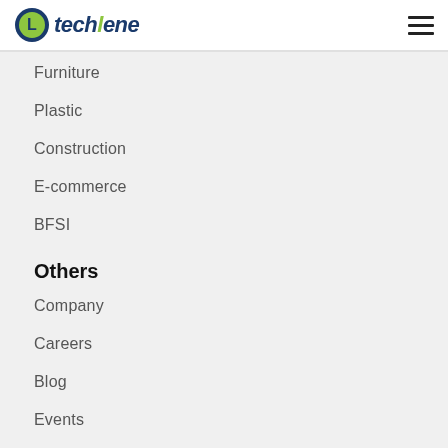techlene
Furniture
Plastic
Construction
E-commerce
BFSI
Others
Company
Careers
Blog
Events